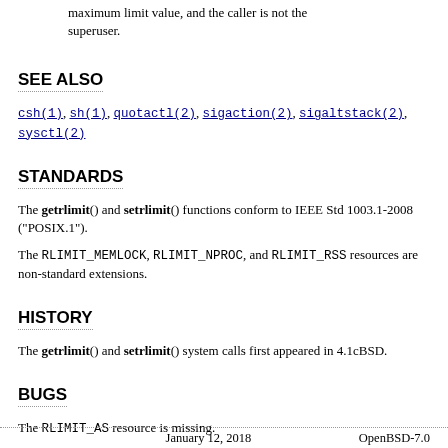maximum limit value, and the caller is not the superuser.
SEE ALSO
csh(1), sh(1), quotactl(2), sigaction(2), sigaltstack(2), sysctl(2)
STANDARDS
The getrlimit() and setrlimit() functions conform to IEEE Std 1003.1-2008 ("POSIX.1").
The RLIMIT_MEMLOCK, RLIMIT_NPROC, and RLIMIT_RSS resources are non-standard extensions.
HISTORY
The getrlimit() and setrlimit() system calls first appeared in 4.1cBSD.
BUGS
The RLIMIT_AS resource is missing.
January 12, 2018                                         OpenBSD-7.0